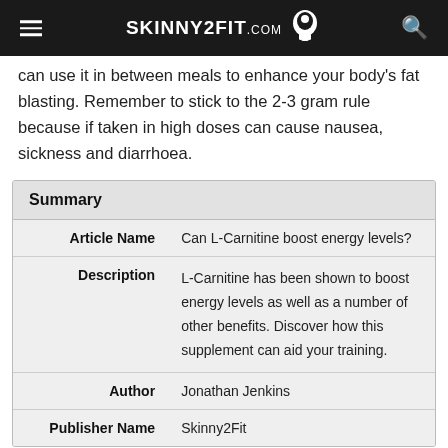SKINNY2FIT
can use it in between meals to enhance your body's fat blasting. Remember to stick to the 2-3 gram rule because if taken in high doses can cause nausea, sickness and diarrhoea.
|  |  |
| --- | --- |
| Summary |  |
| Article Name | Can L-Carnitine boost energy levels? |
| Description | L-Carnitine has been shown to boost energy levels as well as a number of other benefits. Discover how this supplement can aid your training. |
| Author | Jonathan Jenkins |
| Publisher Name | Skinny2Fit |